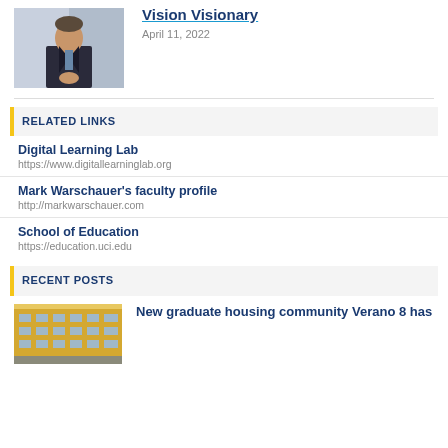[Figure (photo): Portrait photo of a man in a dark suit standing indoors]
Vision Visionary
April 11, 2022
RELATED LINKS
Digital Learning Lab
https://www.digitallearninglab.org
Mark Warschauer's faculty profile
http://markwarschauer.com
School of Education
https://education.uci.edu
RECENT POSTS
[Figure (photo): Photo of a modern multi-story building exterior]
New graduate housing community Verano 8 has